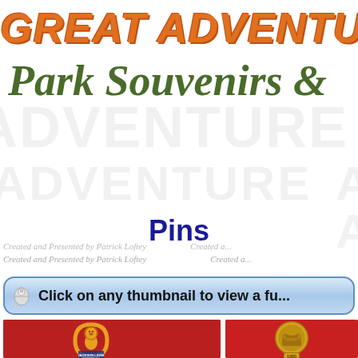GREAT ADVENTURE...
Park Souvenirs &
Pins
Created and Presented by Patrick Loftey   Created a...
Click on any thumbnail to view a fu...
[Figure (photo): Two collectible pins on red background: left pin shows a lion mascot figure with 'Jackson Lions Jackson NJ' text; right pin shows a circular building/landmark design with 1980]